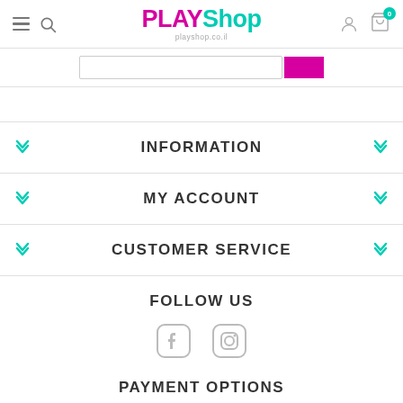[Figure (logo): PLAYShop logo with pink PLAY and teal Shop text, playshop.co.il domain below]
[Figure (screenshot): Search bar with pink search button]
INFORMATION
MY ACCOUNT
CUSTOMER SERVICE
FOLLOW US
[Figure (illustration): Facebook and Instagram social media icons in gray outline style]
PAYMENT OPTIONS